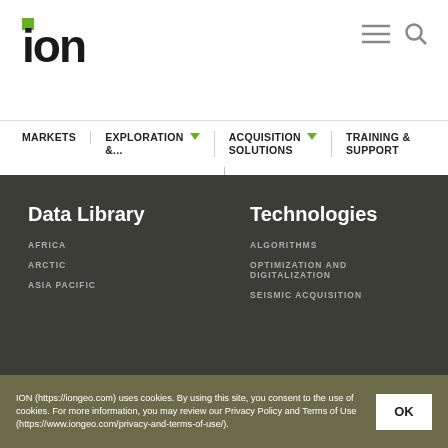ION
MARKETS
EXPLORATION &...
ACQUISITION SOLUTIONS
TRAINING & SUPPORT
Data Library
AFRICA
ARCTIC
ASIA PACIFIC
Technologies
ALGORITHMS
OPTIMIZATION AND DIGITALIZATION
SEISMIC ACQUISITION
ION (https://iongeo.com) uses cookies. By using this site, you consent to the use of cookies. For more information, you may review our Privacy Policy and Terms of Use (https://www.iongeo.com/privacy-and-terms-of-use/).